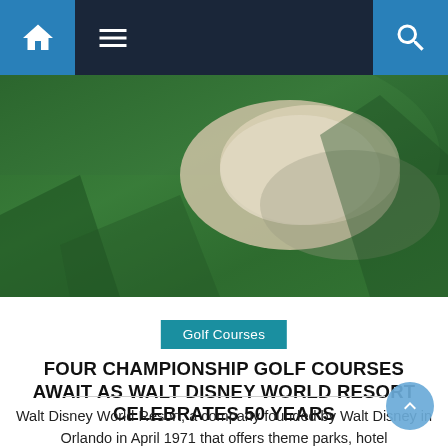Navigation bar with home, menu, and search icons
[Figure (photo): Aerial or close-up view of a golf course green with white sand bunker on green grass, shadows visible across the scene]
Golf Courses
FOUR CHAMPIONSHIP GOLF COURSES AWAIT AS WALT DISNEY WORLD RESORT CELEBRATES 50 YEARS
Walt Disney World Resort, a company founded by Walt Disney in Orlando in April 1971 that offers theme parks, hotel accommodations, cruises, timeshare, tours, travel packages and licensing, celebrates its 50 first years with “The most magical celebration in the world”. – where visitors can celebrate its past, present and future! While developing the